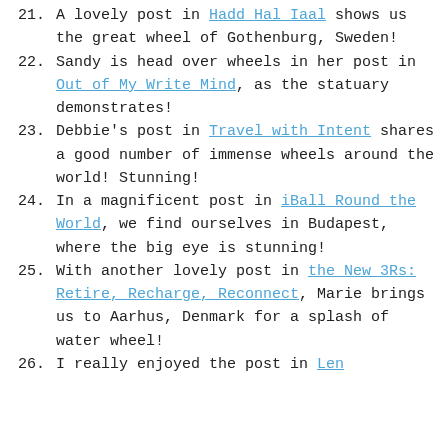21. A lovely post in Hadd Hal Iaal shows us the great wheel of Gothenburg, Sweden!
22. Sandy is head over wheels in her post in Out of My Write Mind, as the statuary demonstrates!
23. Debbie's post in Travel with Intent shares a good number of immense wheels around the world! Stunning!
24. In a magnificent post in iBall Round the World, we find ourselves in Budapest, where the big eye is stunning!
25. With another lovely post in the New 3Rs: Retire, Recharge, Reconnect, Marie brings us to Aarhus, Denmark for a splash of water wheel!
26. I really enjoyed the post in ...